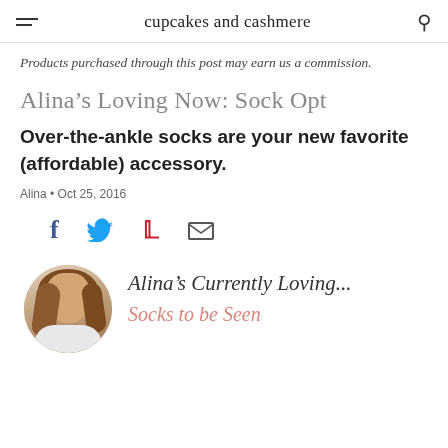cupcakes and cashmere
Products purchased through this post may earn us a commission.
Alina’s Loving Now: Sock Opt
Over-the-ankle socks are your new favorite (affordable) accessory.
Alina • Oct 25, 2016
[Figure (infographic): Social share icons: Facebook, Twitter, Pinterest, Email]
[Figure (photo): Circular avatar photo of Alina with text: Alina’s Currently Loving... Socks to be Seen]